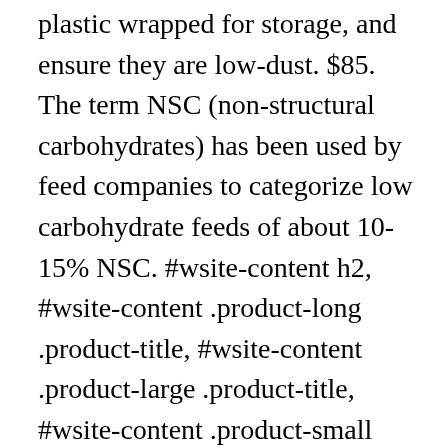plastic wrapped for storage, and ensure they are low-dust. $85. The term NSC (non-structural carbohydrates) has been used by feed companies to categorize low carbohydrate feeds of about 10-15% NSC. #wsite-content h2, #wsite-content .product-long .product-title, #wsite-content .product-large .product-title, #wsite-content .product-small .product-title, .blog-sidebar h2 {} if(document.createEvent && document.addEventListener){ While it is important to source low WSC hay for the horse with chronic diarrhea, some very sensitive horses will get chronic diarrhea even on a low sugar hay, or one with WSC less than 10 percent on a dry matter basis. .wsite-footer